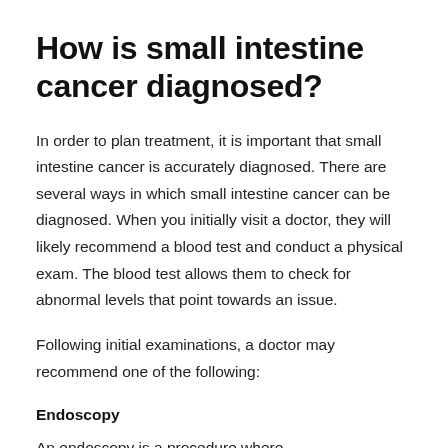How is small intestine cancer diagnosed?
In order to plan treatment, it is important that small intestine cancer is accurately diagnosed. There are several ways in which small intestine cancer can be diagnosed. When you initially visit a doctor, they will likely recommend a blood test and conduct a physical exam. The blood test allows them to check for abnormal levels that point towards an issue.
Following initial examinations, a doctor may recommend one of the following:
Endoscopy
An endoscopy is a procedure where